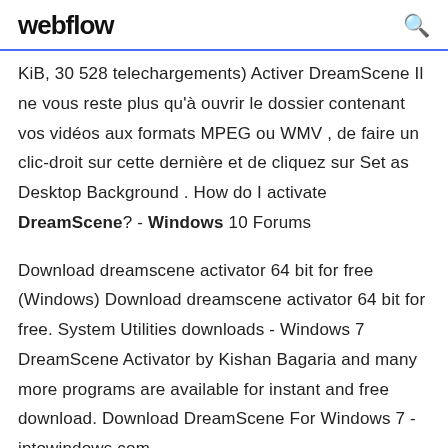webflow
KiB, 30 528 telechargements) Activer DreamScene Il ne vous reste plus qu'à ouvrir le dossier contenant vos vidéos aux formats MPEG ou WMV , de faire un clic-droit sur cette dernière et de cliquez sur Set as Desktop Background . How do I activate DreamScene? - Windows 10 Forums
Download dreamscene activator 64 bit for free (Windows) Download dreamscene activator 64 bit for free. System Utilities downloads - Windows 7 DreamScene Activator by Kishan Bagaria and many more programs are available for instant and free download. Download DreamScene For Windows 7 - intowindows.com